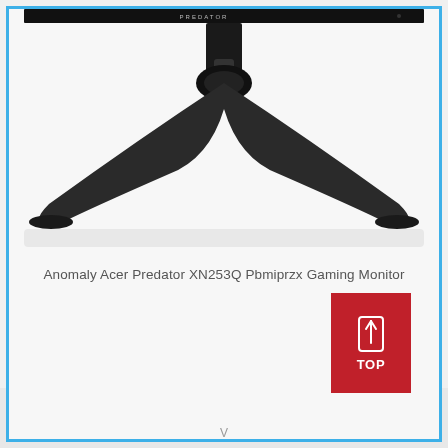[Figure (photo): Bottom portion of an Acer Predator gaming monitor showing the stand and base on a dotted background with a blue border]
Anomaly Acer Predator XN253Q Pbmiprzx Gaming Monitor
[Figure (other): Red 'TOP' button with an upward arrow icon in the bottom right area]